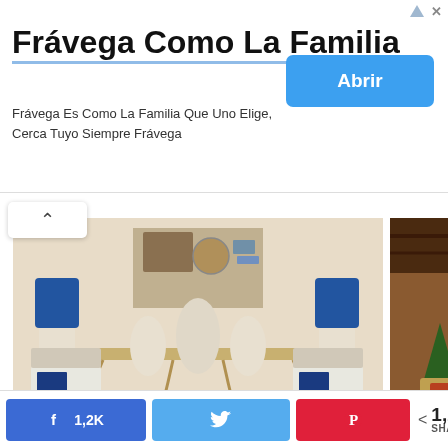Frávega Como La Familia
Frávega Es Como La Familia Que Uno Elige, Cerca Tuyo Siempre Frávega
[Figure (photo): Living room with blue lamps, white console table, decorative wall art]
[Figure (photo): Living room with green sofa, black floor lamp, yellow branch in vase]
[Figure (photo): Cozy living room with Christmas decorations and fireplace]
Brilliant Decorating Ideas for your Cool Home
1,2K
1,2K SHARES